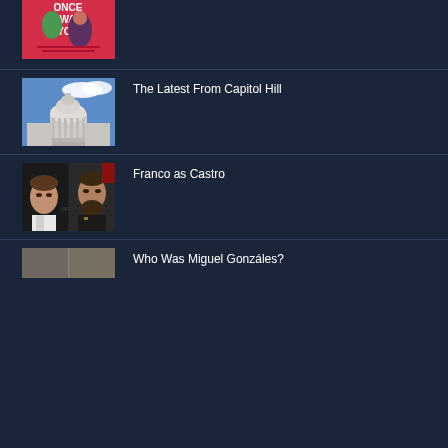[Figure (photo): Book cover 'Once I Was You' showing illustrated woman with pink background - partially visible at top]
[Figure (photo): Photo of the US Capitol Building dome against a blue sky]
The Latest From Capitol Hill
[Figure (photo): Split photo showing James Franco on the left and Fidel Castro on the right]
Franco as Castro
[Figure (photo): Partial photo, bottom of page]
Who Was Miguel Gonzáles?